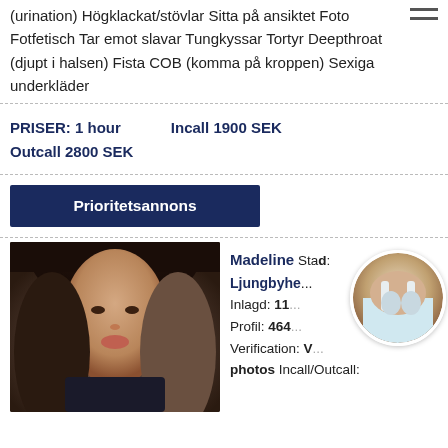(urination) Högklackat/stövlar Sitta på ansiktet Foto Fotfetisch Tar emot slavar Tungkyssar Tortyr Deepthroat (djupt i halsen) Fista COB (komma på kroppen) Sexiga underkläder
PRISER: 1 hour   Incall 1900 SEK
Outcall 2800 SEK
Prioritetsannons
Madeline Stad: Ljungbyhe... Inlagd: 11... Profil: 464... Verification: V... photos Incall/Outcall: